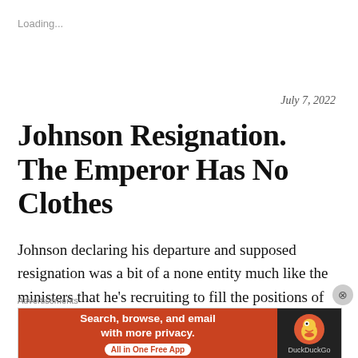Loading...
July 7, 2022
Johnson Resignation. The Emperor Has No Clothes
Johnson declaring his departure and supposed resignation was a bit of a none entity much like the ministers that he's recruiting to fill the positions of the 59 ministers that departed the
Advertisements
[Figure (other): DuckDuckGo advertisement banner: orange section with text 'Search, browse, and email with more privacy. All in One Free App' and dark section with DuckDuckGo logo]